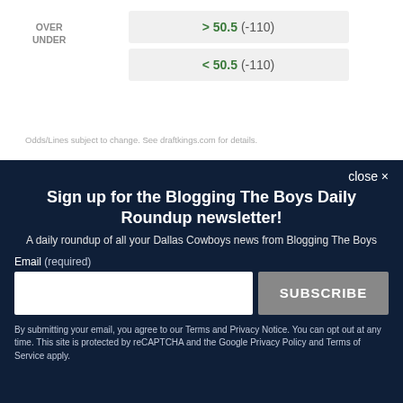|  | OVER/UNDER |
| --- | --- |
| OVER
UNDER | > 50.5 (-110) |
|  | < 50.5 (-110) |
Odds/Lines subject to change. See draftkings.com for details.
close ✕
Sign up for the Blogging The Boys Daily Roundup newsletter!
A daily roundup of all your Dallas Cowboys news from Blogging The Boys
Email (required)
SUBSCRIBE
By submitting your email, you agree to our Terms and Privacy Notice. You can opt out at any time. This site is protected by reCAPTCHA and the Google Privacy Policy and Terms of Service apply.